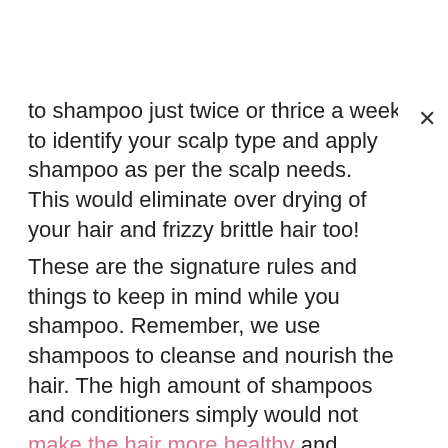to shampoo just twice or thrice a week. You need to identify your scalp type and apply shampoo as per the scalp needs. This would eliminate over drying of your hair and frizzy brittle hair too!
These are the signature rules and things to keep in mind while you shampoo. Remember, we use shampoos to cleanse and nourish the hair. The high amount of shampoos and conditioners simply would not make the hair more healthy and gorgeous! Use mild shampoos, apply the shampoos and conditioner the right way and get gorgeous hair! Following these minor tips would surely you amazing difference.